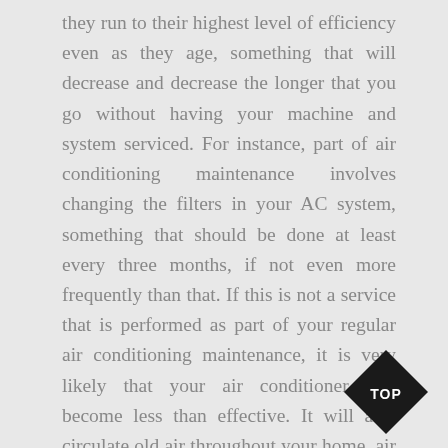they run to their highest level of efficiency even as they age, something that will decrease and decrease the longer that you go without having your machine and system serviced. For instance, part of air conditioning maintenance involves changing the filters in your AC system, something that should be done at least every three months, if not even more frequently than that. If this is not a service that is performed as part of your regular air conditioning maintenance, it is very likely that your air conditioner will become less than effective. It will also circulate old air throughout your home, air that is filled with dust and other debris that has made its way into the system of filters. For those who are sensitive to such things, changing yo
[Figure (other): Black diamond-shaped badge with white text reading 'TOP' in the bottom-right corner of the page]